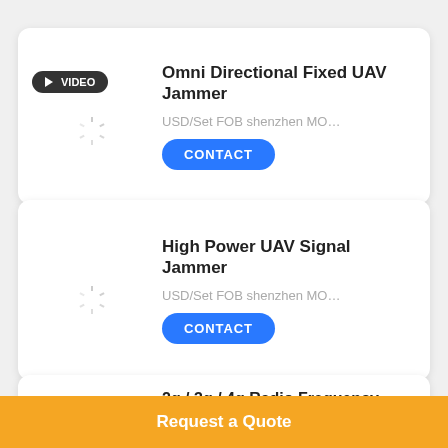[Figure (screenshot): Product card 1: Omni Directional Fixed UAV Jammer with VIDEO badge, loading spinner, price text, and CONTACT button]
[Figure (screenshot): Product card 2: High Power UAV Signal Jammer with loading spinner, price text, and CONTACT button]
[Figure (screenshot): Product card 3 (partial): 2g / 3g / 4g Radio Frequency Blocker (cropped by footer)]
Request a Quote